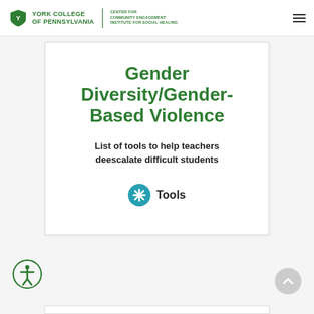York College of Pennsylvania | Center for Community Engagement Institute for Social Healing
Gender Diversity/Gender-Based Violence
List of tools to help teachers deescalate difficult students
Tools